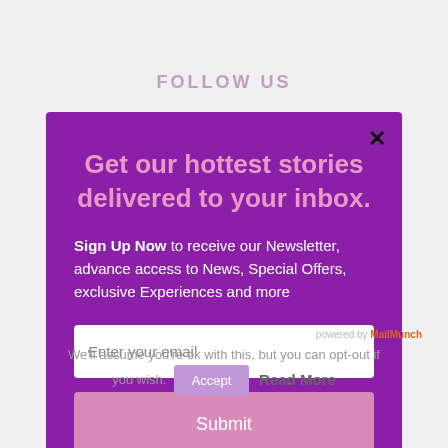FOLLOW US
Get our hottest stories delivered to your inbox.
Sign Up Now to receive our Newsletter, advance access to News, Special Offers, exclusive Experiences and more
[Figure (other): Email input field with placeholder 'Enter your email']
[Figure (other): Pink Submit button]
We'll assume you're ok with this, but you can opt-out if you wish.
Accept
Read More